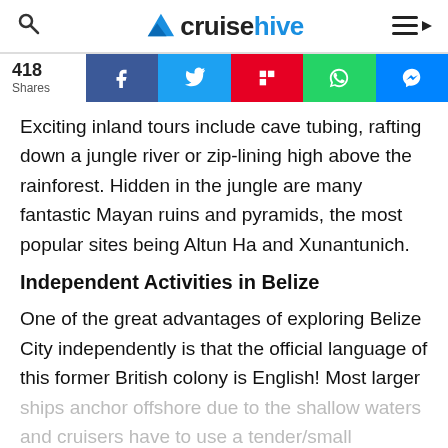cruisehive
[Figure (infographic): Social share bar showing 418 Shares with buttons for Facebook, Twitter, Flipboard, WhatsApp, and Messenger]
Exciting inland tours include cave tubing, rafting down a jungle river or zip-lining high above the rainforest. Hidden in the jungle are many fantastic Mayan ruins and pyramids, the most popular sites being Altun Ha and Xunantunich.
Independent Activities in Belize
One of the great advantages of exploring Belize City independently is that the official language of this former British colony is English! Most larger ships anchor offshore due to the shallow waters and cruisers have to use a tender/small